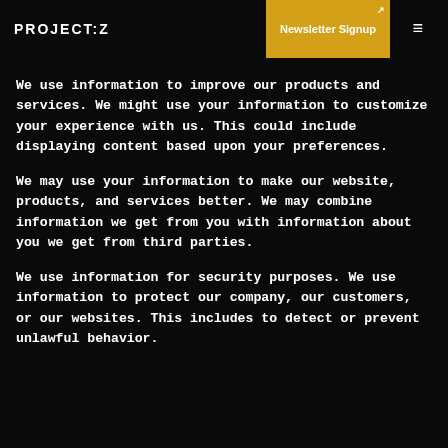PROJECT:Z | Newsletter Signup
We use information to improve our products and services. We might use your information to customize your experience with us. This could include displaying content based upon your preferences.
We may use your information to make our website, products, and services better. We may combine information we get from you with information about you we get from third parties.
We use information for security purposes. We use information to protect our company, our customers, or our websites. This includes to detect or prevent unlawful behavior.